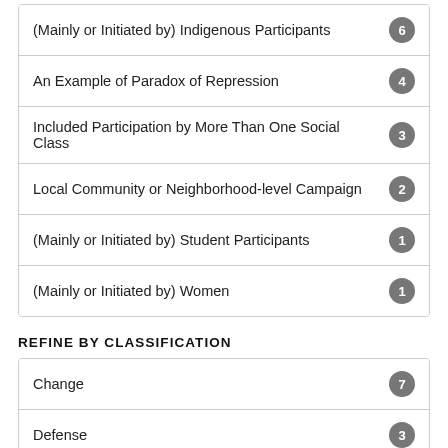(Mainly or Initiated by) Indigenous Participants
An Example of Paradox of Repression
Included Participation by More Than One Social Class
Local Community or Neighborhood-level Campaign
(Mainly or Initiated by) Student Participants
(Mainly or Initiated by) Women
REFINE BY CLASSIFICATION
Change
Defense